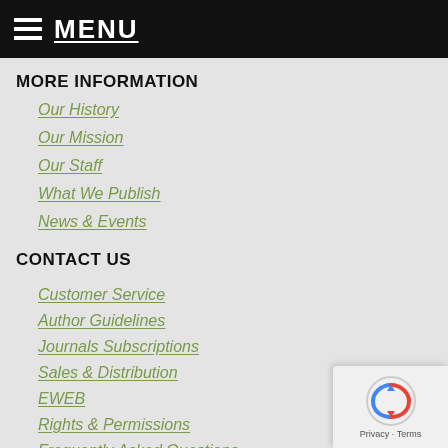MENU
MORE INFORMATION
Our History
Our Mission
Our Staff
What We Publish
News & Events
CONTACT US
Customer Service
Author Guidelines
Journals Subscriptions
Sales & Distribution
EWEB
Rights & Permissions
Frequently Asked Questions
Email The Press